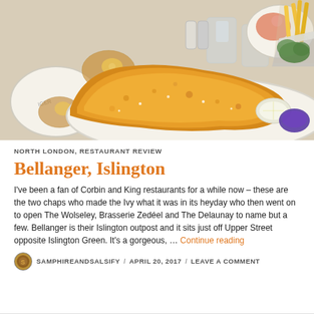[Figure (photo): Top-down view of a restaurant table with a large golden-brown schnitzel on a plate, wine glasses with amber drinks, water glasses, french fries in a metal cup, broccoli, a lemon wedge, and a dish of purple sauce.]
NORTH LONDON, RESTAURANT REVIEW
Bellanger, Islington
I've been a fan of Corbin and King restaurants for a while now – these are the two chaps who made the Ivy what it was in its heyday who then went on to open The Wolseley, Brasserie ZedÃ©l and The Delaunay to name but a few. Bellanger is their Islington outpost and it sits just off Upper Street opposite Islington Green. It's a gorgeous, … Continue reading
SAMPHIREANDSALSIFY / APRIL 20, 2017 / LEAVE A COMMENT